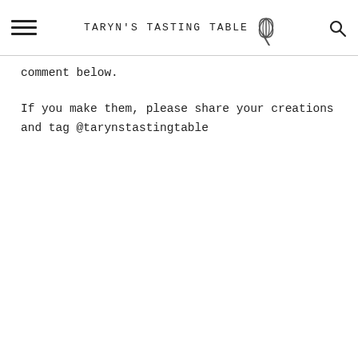TARYN'S TASTING TABLE
comment below.
If you make them, please share your creations and tag @tarynstastingtable